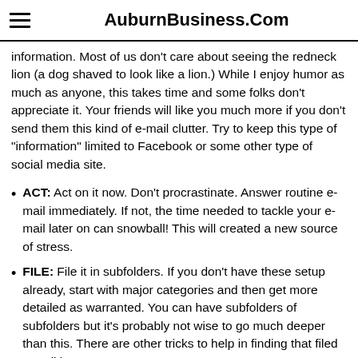AuburnBusiness.Com
information. Most of us don't care about seeing the redneck lion (a dog shaved to look like a lion.) While I enjoy humor as much as anyone, this takes time and some folks don't appreciate it. Your friends will like you much more if you don't send them this kind of e-mail clutter. Try to keep this type of "information" limited to Facebook or some other type of social media site.
ACT: Act on it now. Don't procrastinate. Answer routine e-mail immediately. If not, the time needed to tackle your e-mail later on can snowball! This will created a new source of stress.
FILE: File it in subfolders. If you don't have these setup already, start with major categories and then get more detailed as warranted. You can have subfolders of subfolders but it's probably not wise to go much deeper than this. There are other tricks to help in finding that filed e-mail later.
TABLE: Table it. If you need it at some time in the near future, other than today, place it in a simple "follow-up" system for easy retrieval.